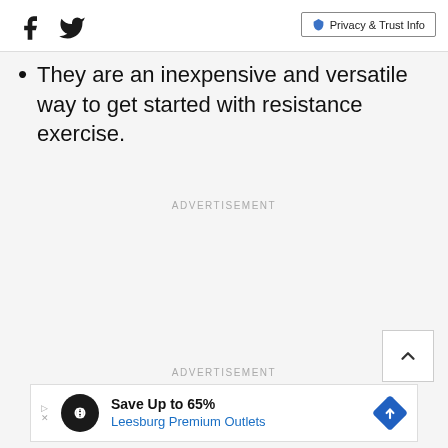Social icons and Privacy & Trust Info button
They are an inexpensive and versatile way to get started with resistance exercise.
ADVERTISEMENT
ADVERTISEMENT
[Figure (screenshot): Ad banner: Save Up to 65% Leesburg Premium Outlets with logo circle and arrow diamond icon]